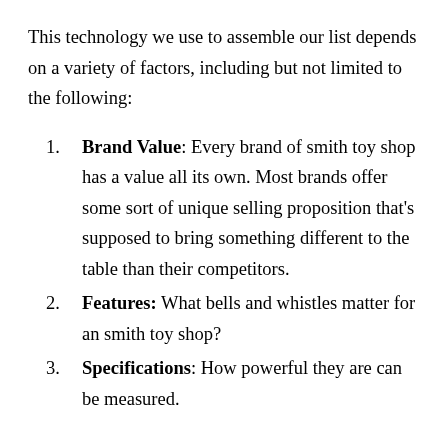This technology we use to assemble our list depends on a variety of factors, including but not limited to the following:
Brand Value: Every brand of smith toy shop has a value all its own. Most brands offer some sort of unique selling proposition that's supposed to bring something different to the table than their competitors.
Features: What bells and whistles matter for an smith toy shop?
Specifications: How powerful they are can be measured.